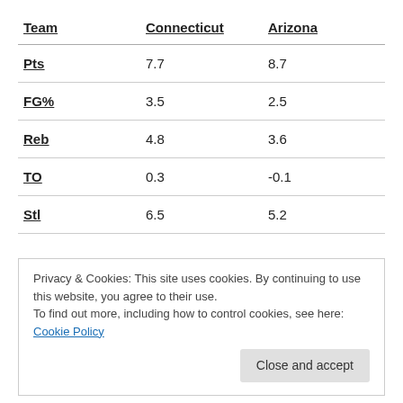| Team | Connecticut | Arizona |
| --- | --- | --- |
| Pts | 7.7 | 8.7 |
| FG% | 3.5 | 2.5 |
| Reb | 4.8 | 3.6 |
| TO | 0.3 | -0.1 |
| Stl | 6.5 | 5.2 |
Privacy & Cookies: This site uses cookies. By continuing to use this website, you agree to their use. To find out more, including how to control cookies, see here: Cookie Policy